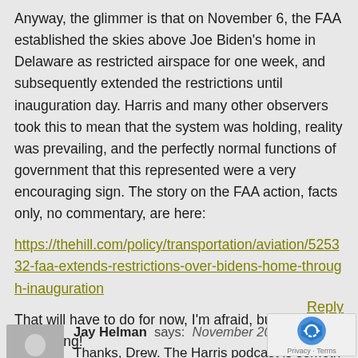Anyway, the glimmer is that on November 6, the FAA established the skies above Joe Biden's home in Delaware as restricted airspace for one week, and subsequently extended the restrictions until inauguration day. Harris and many other observers took this to mean that the system was holding, reality was prevailing, and the perfectly normal functions of government that this represented were a very encouraging sign. The story on the FAA action, facts only, no commentary, are here: https://thehill.com/policy/transportation/aviation/525332-faa-extends-restrictions-over-bidens-home-through-inauguration
That will have to do for now, I'm afraid, but it's something!
Reply
Jay Helman says: November 20, 2020 at [time] Thanks, Drew. The Harris podcast is something indeed; not the least of which is a much